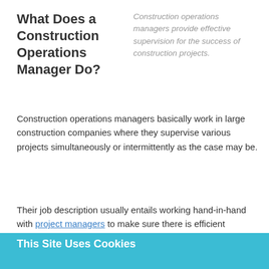What Does a Construction Operations Manager Do?
Construction operations managers provide effective supervision for the success of construction projects.
Construction operations managers basically work in large construction companies where they supervise various projects simultaneously or intermittently as the case may be.
Their job description usually entails working hand-in-hand with project managers to make sure there is efficient allocation of
This Site Uses Cookies
We use cookies on our website to give you the most relevant experience by remembering your preferences and repeat visits. By clicking “Accept”, you consent to the use of ALL the cookies.
Cookie settings
ACCEPT